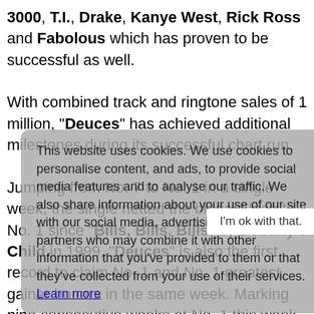3000, T.I., Drake, Kanye West, Rick Ross and Fabolous which has proven to be successful as well.
With combined track and ringtone sales of 1 million, "Deuces" has achieved additional milestones during its successful chart run. Jumping from No. 7 to No. 1 in a single week, the single netted the biggest leap to No. 1 since "Bills, Bills, Bills" by Destiny's Child in 1999. "Deuces" is also the first record to claim No. 1 and No. 1 greatest gainer honors in the same week. Marking nine consecutive weeks at No. 1 this week, "Deuces" now boasts the longest No. 1 reign at the Urban format for 2010.
This website uses cookies. We use cookies to personalise content, and ads, to provide social media features and to analyse our traffic. We also share information about your use of our site with our social media, advertising and analytics partners who may combine it with other information that you've provided to them or that they've collected from your use of their services. Learn more